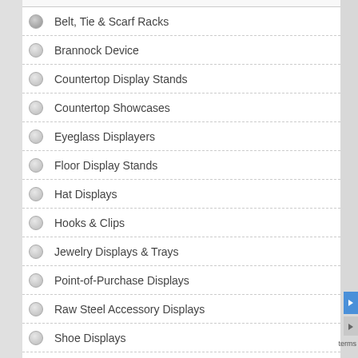Belt, Tie & Scarf Racks
Brannock Device
Countertop Display Stands
Countertop Showcases
Eyeglass Displayers
Floor Display Stands
Hat Displays
Hooks & Clips
Jewelry Displays & Trays
Point-of-Purchase Displays
Raw Steel Accessory Displays
Shoe Displays
Tables, Pedestals & Cubes
All